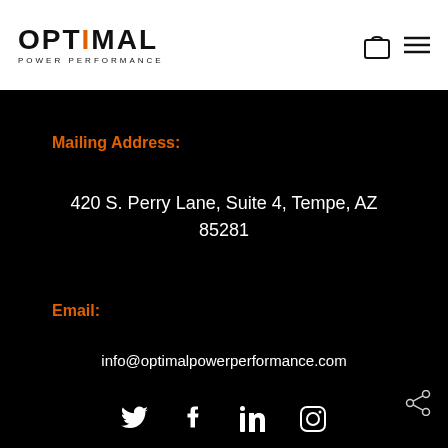OPTIMAL POWER PERFORMANCE
Mailing Address:
420 S. Perry Lane, Suite 4, Tempe, AZ 85281
Email:
info@optimalpowerperformance.com
[Figure (other): Social media icons row: Twitter, Facebook, LinkedIn, Instagram; and a share icon at top-right of footer area]